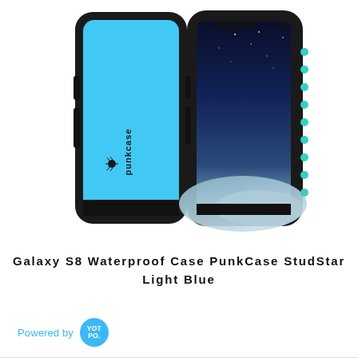[Figure (photo): Product photo of Galaxy S8 Waterproof Case PunkCase StudStar in Light Blue. Two phone cases shown side by side: left case showing the back with a solid light blue panel and black rubber border with 'punkcase' logo text, right case showing the front with a Samsung Galaxy S8 phone displaying a night sky wallpaper, black frame with teal/cyan accent dots along the right edge.]
Galaxy S8 Waterproof Case PunkCase StudStar Light Blue
Powered by YOTPO.